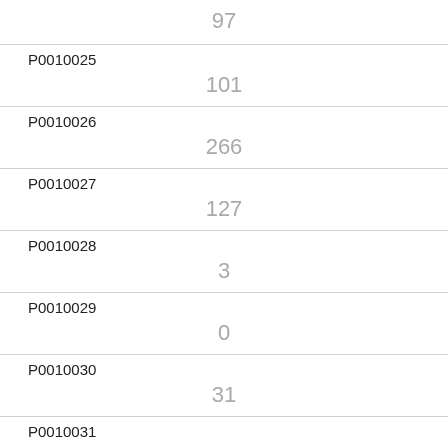| ID | Value |
| --- | --- |
|  | 97 |
| P0010025 | 101 |
| P0010026 | 266 |
| P0010027 | 127 |
| P0010028 | 3 |
| P0010029 | 0 |
| P0010030 | 31 |
| P0010031 | 2 |
| P0010032 | 0 |
| P0010033 | 8 |
| P0010034 |  |